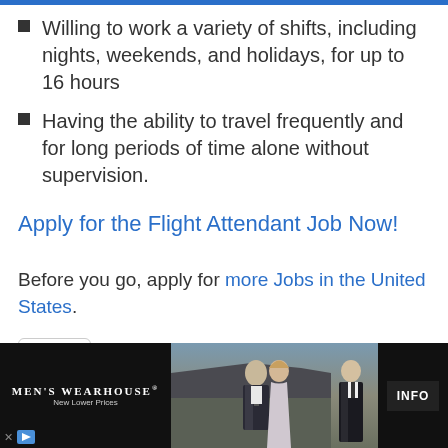Willing to work a variety of shifts, including nights, weekends, and holidays, for up to 16 hours
Having the ability to travel frequently and for long periods of time alone without supervision.
Apply for the Flight Attendant Job Now!
Before you go, apply for more Jobs in the United States.
[Figure (screenshot): Men's Wearhouse advertisement banner with couple in formal wear and man in tuxedo, with INFO button]
[Figure (other): Collapse/chevron button and ad attribution icons]